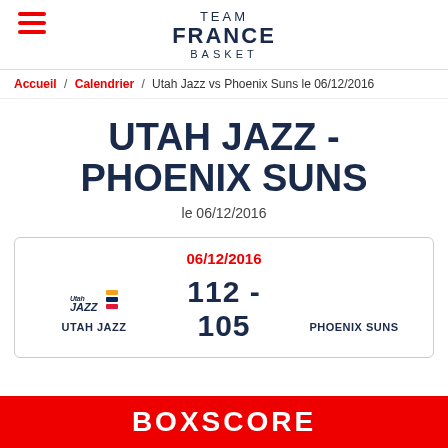[Figure (logo): Team France Basket logo with hamburger menu icon]
Accueil / Calendrier / Utah Jazz vs Phoenix Suns le 06/12/2016
UTAH JAZZ - PHOENIX SUNS
le 06/12/2016
| Utah Jazz logo | 06/12/2016 |  |
| UTAH JAZZ | 112 - 105 | PHOENIX SUNS |
BOXSCORE